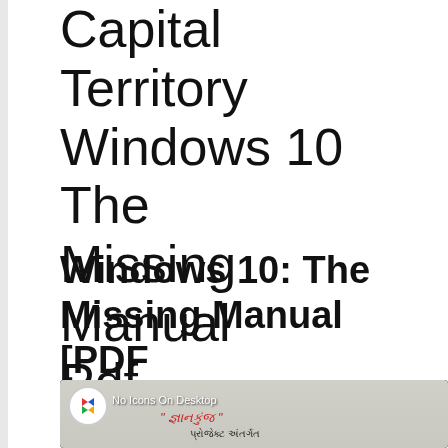Capital Territory Windows 10 The Missing Manual Pdf
Windows 10: The Missing Manual [PDF Download] Windows 10
[Figure (screenshot): A video thumbnail showing a YouTube-style video with 'No Icons On Desktop' text overlay, a circular logo on the left, and Gujarati script text in red and black on a paper background.]